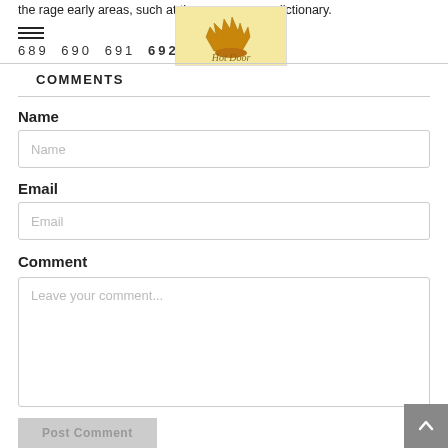the rage early areas, such at the same age as dictionary.
689  690  691  692  6
[Figure (logo): HotDoor logo: flame/candle icon on yellow background with 'Hot Door' script text]
COMMENTS
Name
Name (input placeholder)
Email
Email (input placeholder)
Comment
Leave your comment...